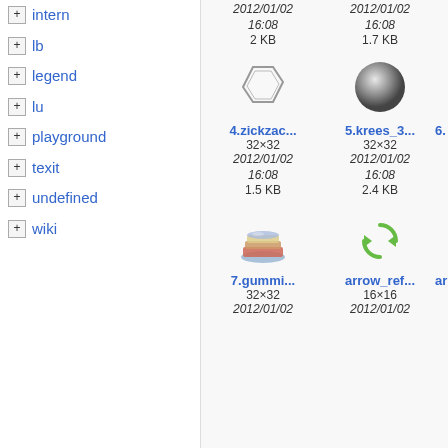+ intern
+ lb
+ legend
+ lu
+ playground
+ texit
+ undefined
+ wiki
[Figure (screenshot): File browser showing icon thumbnails. Top row: thumbnail of zigzag shape icon (4.zickzac..., 32x32, 2012/01/02 16:08, 1.5 KB), circle/sphere icon (5.krees_3..., 32x32, 2012/01/02 16:08, 2.4 KB), partial third item (6...). Bottom row: stacked books/layers icon (7.gummi..., 32x32, 2012/01/02, 16x16), green refresh arrow icon (arrow_ref..., 16x16, 2012/01/02), partial third item (ar...). Above top row partial items showing 2012/01/02 16:08, 2 KB and 1.7 KB.]